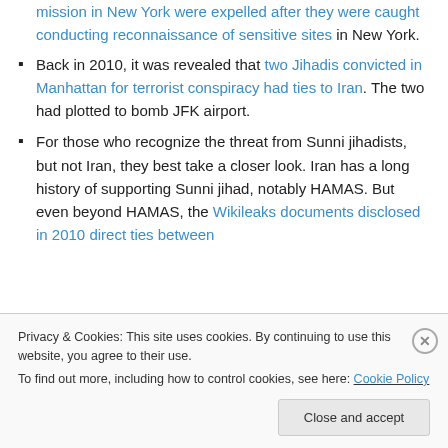mission in New York were expelled after they were caught conducting reconnaissance of sensitive sites in New York.
Back in 2010, it was revealed that two Jihadis convicted in Manhattan for terrorist conspiracy had ties to Iran. The two had plotted to bomb JFK airport.
For those who recognize the threat from Sunni jihadists, but not Iran, they best take a closer look. Iran has a long history of supporting Sunni jihad, notably HAMAS. But even beyond HAMAS, the Wikileaks documents disclosed in 2010 direct ties between
Privacy & Cookies: This site uses cookies. By continuing to use this website, you agree to their use.
To find out more, including how to control cookies, see here: Cookie Policy